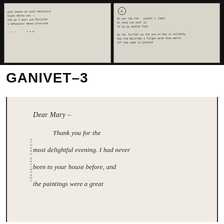[Figure (photo): Two manuscript/handwritten document panels side by side on dark background. Left panel shows cursive handwriting with text including 'poor means at with necessity', 'Count Barba you', and other handwritten lines. Right panel has a circled number 6 and more handwritten text including 'the la double fate'.]
GANIVET-3
[Figure (photo): A handwritten letter on aged paper with vertical text 'TREVELYAN CAPOTE' on left margin. The letter content reads: 'Dear Mary – Thank you for the most delightful evening. I had never been to your house before, and the paintings were a great']